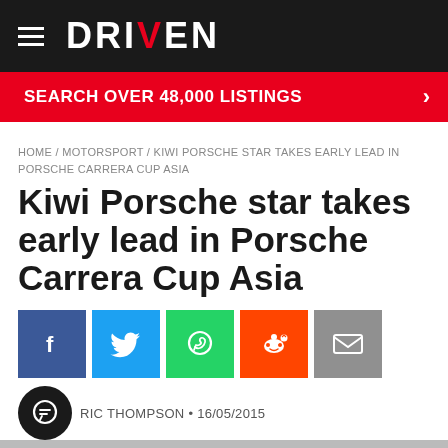DRIVEN
SEARCH OVER 48,000 LISTINGS
HOME / MOTORSPORT / KIWI PORSCHE STAR TAKES EARLY LEAD IN PORSCHE CARRERA CUP ASIA
Kiwi Porsche star takes early lead in Porsche Carrera Cup Asia
RIC THOMPSON • 16/05/2015
SEARCH DRIVEN FOR VEHICLES FOR SALE